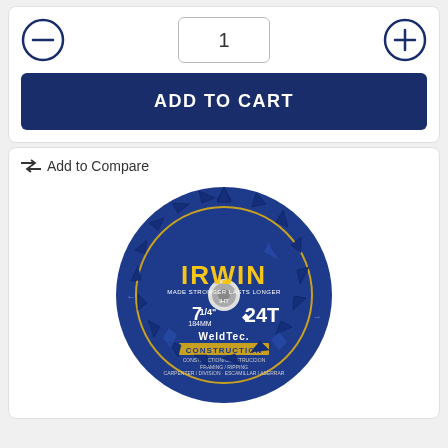[Figure (screenshot): Quantity selector with minus and plus circle buttons and a text input box showing '1']
ADD TO CART
Add to Compare
[Figure (photo): IRWIN WeldTec Construction 7-1/4 inch 24T circular saw blade, blue with gold text, showing teeth around the perimeter]